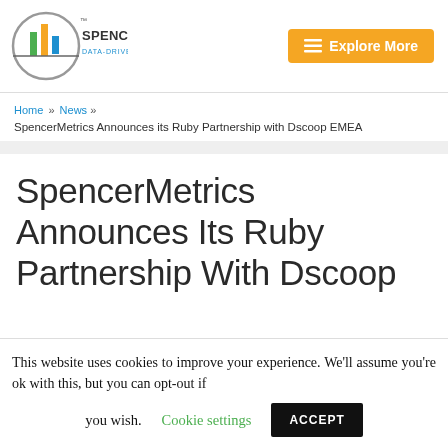[Figure (logo): SpencerMetrics logo with circular bar chart icon and tagline DATA-DRIVEN PRODUCTIVITY]
Explore More
Home » News » SpencerMetrics Announces its Ruby Partnership with Dscoop EMEA
SpencerMetrics Announces Its Ruby Partnership With Dscoop
This website uses cookies to improve your experience. We'll assume you're ok with this, but you can opt-out if you wish. Cookie settings ACCEPT